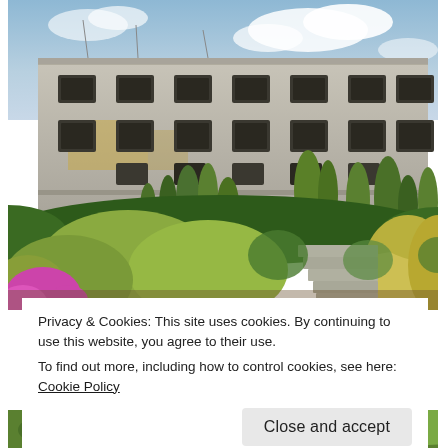[Figure (photo): Photograph of Alcatraz Island showing the historic prison building facade with barred windows and deteriorating concrete walls, and colorful garden in the foreground with pink flowers, green and yellow-green shrubs, concrete steps leading up, and blue cloudy sky above.]
Privacy & Cookies: This site uses cookies. By continuing to use this website, you agree to their use.
To find out more, including how to control cookies, see here: Cookie Policy
Close and accept
[Figure (photo): Bottom portion of another garden/landscape photograph, partially visible.]